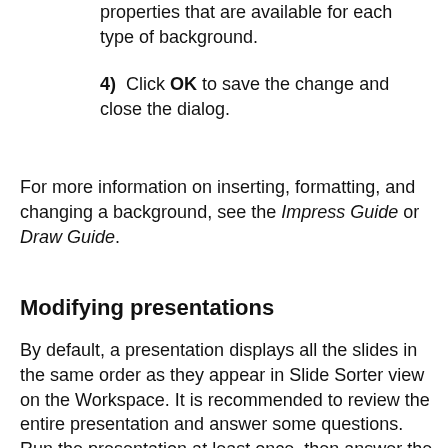properties that are available for each type of background.
4)  Click OK to save the change and close the dialog.
For more information on inserting, formatting, and changing a background, see the Impress Guide or Draw Guide.
Modifying presentations
By default, a presentation displays all the slides in the same order as they appear in Slide Sorter view on the Workspace. It is recommended to review the entire presentation and answer some questions. Run the presentation at least once, then answer the following questions. Also there maybe more questions after running a